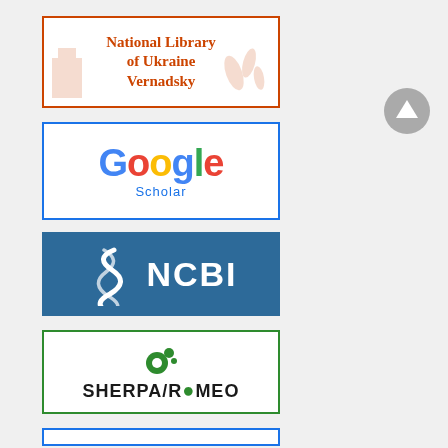[Figure (logo): National Library of Ukraine Vernadsky logo with building silhouette and decorative plant motif, orange-red border]
[Figure (logo): Google Scholar logo with colorful Google wordmark and blue Scholar text, blue border]
[Figure (logo): NCBI logo with white snake/helix symbol on blue background]
[Figure (logo): SHERPA/RoMEO logo with green circular molecules icon and bold text, green border]
[Figure (logo): Partial logo at bottom, partially cropped, orange-red border]